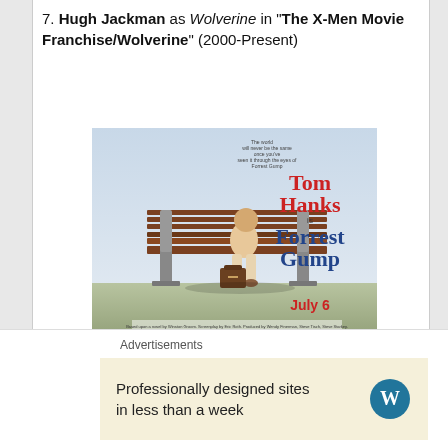7. Hugh Jackman as Wolverine in "The X-Men Movie Franchise/Wolverine" (2000-Present)
[Figure (photo): Forrest Gump movie poster showing a man sitting on a park bench with a suitcase, with the text 'Tom Hanks is Forrest Gump' and 'July 6']
6. Tom Hanks as Forrest Gump in "Forrest Gump" (1994)
Advertisements
Professionally designed sites in less than a week